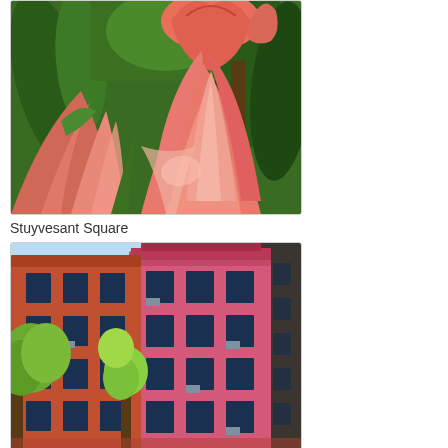[Figure (photo): Close-up photograph of pink/coral tulip flowers with green leaves in background, taken at Stuyvesant Square]
Stuyvesant Square
[Figure (photo): Photograph of colorful urban rowhouse/brownstone buildings with pink, red, and orange facades, multiple stories with windows, trees in foreground]